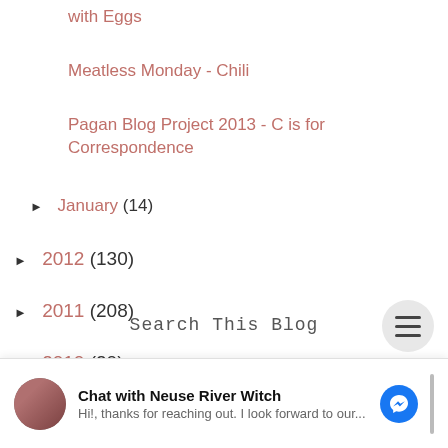with Eggs
Meatless Monday - Chili
Pagan Blog Project 2013 - C is for Correspondence
► January (14)
► 2012 (130)
► 2011 (208)
► 2010 (20)
Search This Blog
Chat with Neuse River Witch
Hi!, thanks for reaching out. I look forward to our...